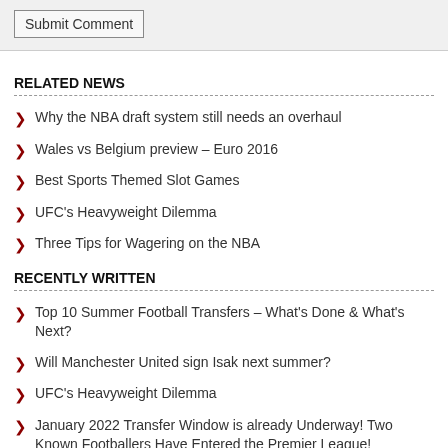Submit Comment
RELATED NEWS
Why the NBA draft system still needs an overhaul
Wales vs Belgium preview – Euro 2016
Best Sports Themed Slot Games
UFC's Heavyweight Dilemma
Three Tips for Wagering on the NBA
RECENTLY WRITTEN
Top 10 Summer Football Transfers – What's Done & What's Next?
Will Manchester United sign Isak next summer?
UFC's Heavyweight Dilemma
January 2022 Transfer Window is already Underway! Two Known Footballers Have Entered the Premier League!
The January transfer window begins